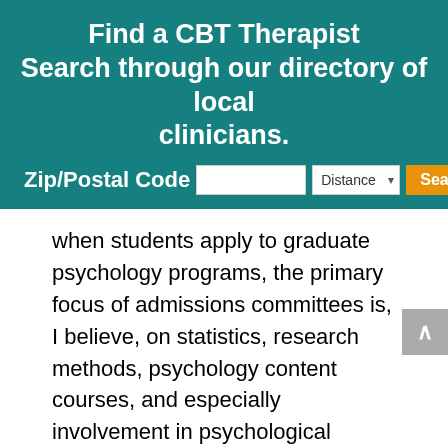Find a CBT Therapist Search through our directory of local clinicians.
when students apply to graduate psychology programs, the primary focus of admissions committees is, I believe, on statistics, research methods, psychology content courses, and especially involvement in psychological research to the virtual exclusion of non-psychology work and intellectual interests that can provide ... [a] broad context [for understanding the human condition] ....